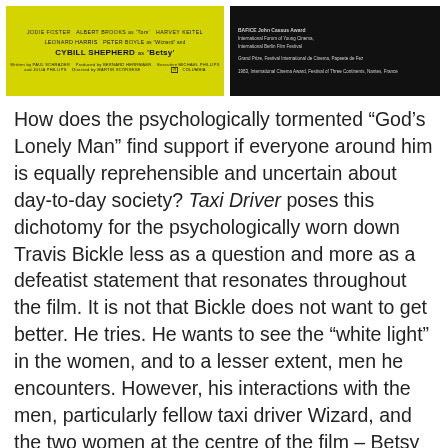[Figure (photo): Yellow movie poster card for Taxi Driver showing cast: Jodie Foster, Albert Brooks as Tom, Harvey Keitel, Leonard Harris, Peter Boyle as Wizard, and Cybill Shepherd as Betsy. Written by Paul Schrader, produced by Bernard Herrmann, directed by Martin Scorsese. Rated R.]
[Figure (photo): Black background card listing film awards: BAFICE John Cassus Award, International Forum of Young Cinema, International Berlin Film Festival, Grand Prize Festival International de Cinema Papeete de Fez, 1983 International Cinema Award Festival of Three Continents Nantes France.]
How does the psychologically tormented “God’s Lonely Man” find support if everyone around him is equally reprehensible and uncertain about day-to-day society? Taxi Driver poses this dichotomy for the psychologically worn down Travis Bickle less as a question and more as a defeatist statement that resonates throughout the film. It is not that Bickle does not want to get better. He tries. He wants to see the “white light” in the women, and to a lesser extent, men he encounters. However, his interactions with the men, particularly fellow taxi driver Wizard, and the two women at the centre of the film – Betsy and Iris – inevitably make him see the “filth” more, fuelling his already